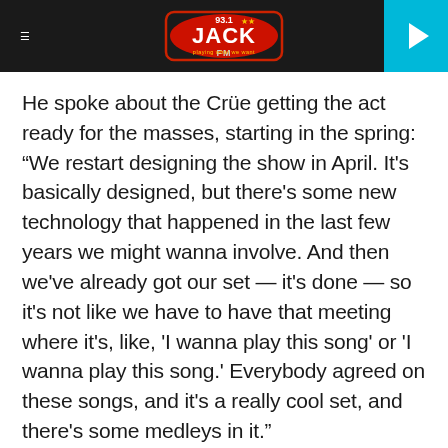93.1 JACK FM
He spoke about the Crüe getting the act ready for the masses, starting in the spring: “We restart designing the show in April. It's basically designed, but there's some new technology that happened in the last few years we might wanna involve. And then we've already got our set — it's done — so it's not like we have to have that meeting where it's, like, 'I wanna play this song' or 'I wanna play this song.' Everybody agreed on these songs, and it's a really cool set, and there's some medleys in it.”
Content Continues Below Advertisement
Full Page Ad